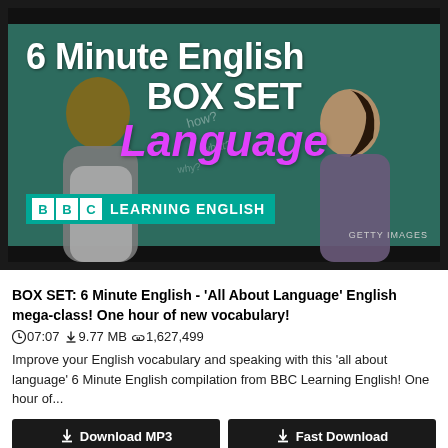[Figure (screenshot): Thumbnail image showing two people facing each other against a teal/green background, with text '6 Minute English BOX SET Language' and BBC Learning English logo. Photo credit: Getty Images.]
BOX SET: 6 Minute English - 'All About Language' English mega-class! One hour of new vocabulary!
07:07  9.77 MB  1,627,499
Improve your English vocabulary and speaking with this 'all about language' 6 Minute English compilation from BBC Learning English! One hour of...
Download MP3
Fast Download